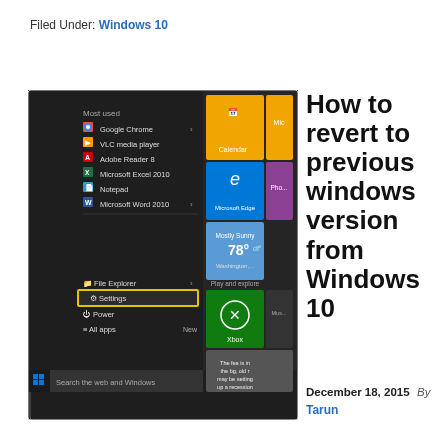Filed Under: Windows 10
[Figure (screenshot): Windows 10 Start Menu screenshot showing Most used apps list including Google Chrome, VLC media player, Adobe Reader 8, Microsoft Excel 2010, Notepad, Microsoft Word 2010, with tiles on the right (Calendar, Microsoft Edge, weather showing 78 degrees, Xbox), and Settings highlighted with yellow border at bottom, File Explorer, Power, All apps, and Search the web and Windows bar at bottom.]
How to revert to previous windows version from Windows 10
December 18, 2015  By Tarun